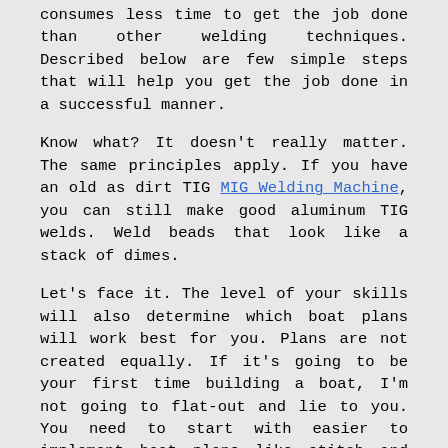consumes less time to get the job done than other welding techniques. Described below are few simple steps that will help you get the job done in a successful manner.
Know what? It doesn't really matter. The same principles apply. If you have an old as dirt TIG MIG Welding Machine, you can still make good aluminum TIG welds. Weld beads that look like a stack of dimes.
Let's face it. The level of your skills will also determine which boat plans will work best for you. Plans are not created equally. If it's going to be your first time building a boat, I'm not going to flat-out and lie to you. You need to start with easier to implement boat plans like stitch and glue plans. Of course, you may try for other plans but it's going to be more frustrating the more complex the plan.
Even after being informed about the latest processes used for coating quality steel fence panels, many people don't know how they would benefit from having steel rather than